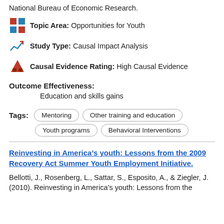National Bureau of Economic Research.
Topic Area: Opportunities for Youth
Study Type: Causal Impact Analysis
Causal Evidence Rating: High Causal Evidence
Outcome Effectiveness:
Education and skills gains
Tags: Mentoring | Other training and education | Youth programs | Behavioral Interventions
Reinvesting in America’s youth: Lessons from the 2009 Recovery Act Summer Youth Employment Initiative.
Bellotti, J., Rosenberg, L., Sattar, S., Esposito, A., & Ziegler, J. (2010). Reinvesting in America’s youth: Lessons from the